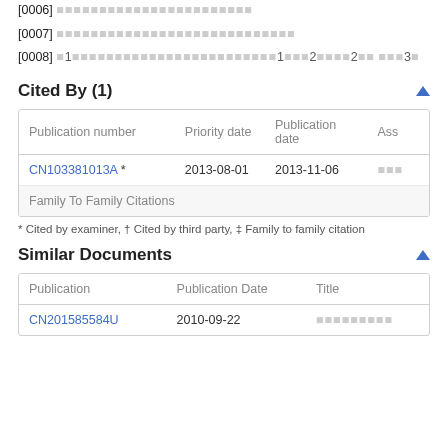[0006] [CJK text]
[0007] [CJK text]
[0008] 图1[CJK text]1图示2[CJK]2图 [CJK]3图
Cited By (1)
| Publication number | Priority date | Publication date | Ass |
| --- | --- | --- | --- |
| CN103381013A * | 2013-08-01 | 2013-11-06 | [CJK] |
| Family To Family Citations |  |  |  |
* Cited by examiner, † Cited by third party, ‡ Family to family citation
Similar Documents
| Publication | Publication Date | Title |
| --- | --- | --- |
| CN201585584U | 2010-09-22 | [CJK] |